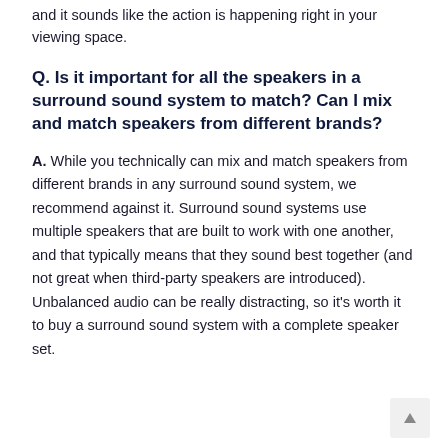and it sounds like the action is happening right in your viewing space.
Q. Is it important for all the speakers in a surround sound system to match? Can I mix and match speakers from different brands?
A. While you technically can mix and match speakers from different brands in any surround sound system, we recommend against it. Surround sound systems use multiple speakers that are built to work with one another, and that typically means that they sound best together (and not great when third-party speakers are introduced). Unbalanced audio can be really distracting, so it's worth it to buy a surround sound system with a complete speaker set.